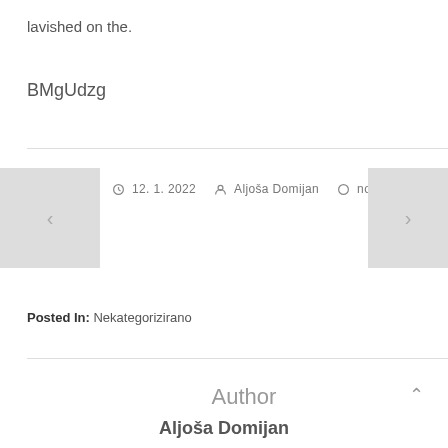lavished on the.
BMgUdzg
12. 1. 2022   Aljoša Domijan   no comments
Posted In: Nekategorizirano
Author
Aljoša Domijan